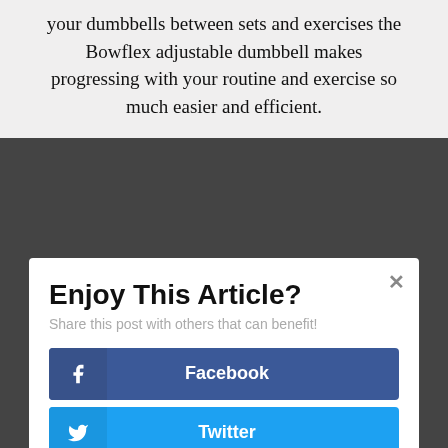your dumbbells between sets and exercises the Bowflex adjustable dumbbell makes progressing with your routine and exercise so much easier and efficient.
Enjoy This Article?
Share this post with others that can benefit!
[Figure (infographic): Social share buttons: Facebook (dark blue), Twitter (light blue), Google+ (red-orange), Pinterest (red)]